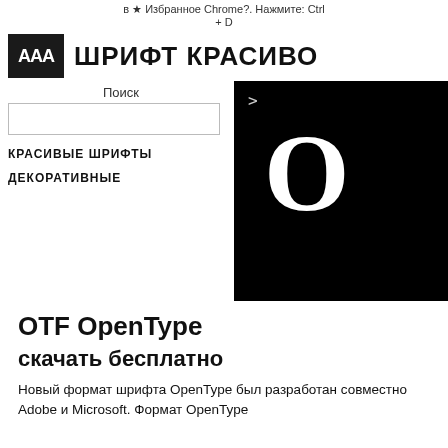в ★ Избранное Chrome?. Нажмите: Ctrl + D
ААА ШРИФТ КРАСИВО
Поиск
КРАСИВЫЕ ШРИФТЫ
ДЕКОРАТИВНЫЕ
[Figure (other): Black panel showing preview of font character: a large white letter O on black background with a > arrow cursor symbol]
OTF OpenType
скачать бесплатно
Новый формат шрифта OpenType был разработан совместно Adobe и Microsoft. Формат OpenType